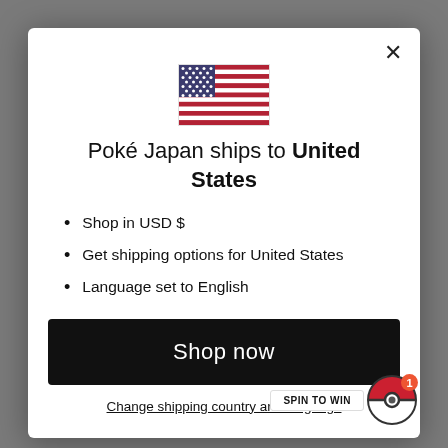[Figure (illustration): US flag emoji/icon centered at top of modal]
Poké Japan ships to United States
Shop in USD $
Get shipping options for United States
Language set to English
Shop now
Change shipping country and language